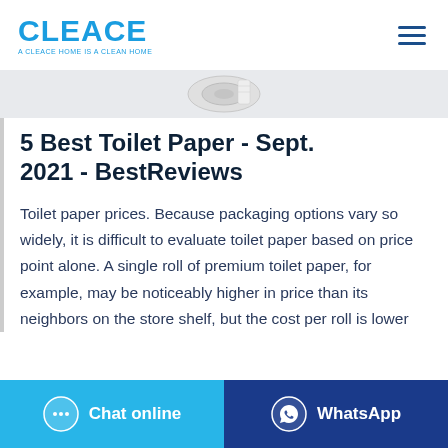[Figure (logo): CLEACE logo in blue with tagline 'A CLEACE HOME IS A CLEAN HOME']
[Figure (photo): Partial image of toilet paper roll at the top of the article content]
5 Best Toilet Paper - Sept. 2021 - BestReviews
Toilet paper prices. Because packaging options vary so widely, it is difficult to evaluate toilet paper based on price point alone. A single roll of premium toilet paper, for example, may be noticeably higher in price than its neighbors on the store shelf, but the cost per roll is lower
[Figure (infographic): Bottom navigation bar with Chat online button (light blue) and WhatsApp button (dark blue)]